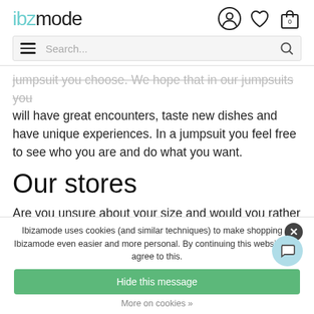ibzmode
jumpsuit you choose. We hope that in our jumpsuits you will have great encounters, taste new dishes and have unique experiences. In a jumpsuit you feel free to see who you are and do what you want.
Our stores
Are you unsure about your size and would you rather try on your jumpsuit first? That is possible in our stores!
Ibizamode uses cookies (and similar techniques) to make shopping at Ibizamode even easier and more personal. By continuing this website you agree to this.
Hide this message
More on cookies »